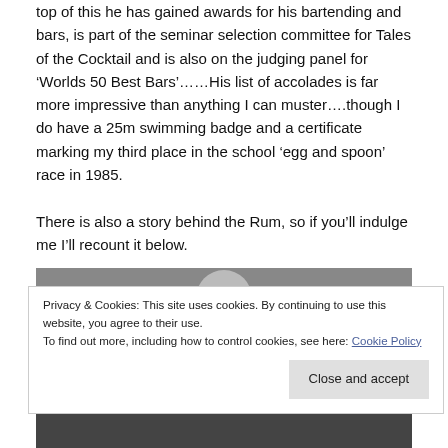top of this he has gained awards for his bartending and bars, is part of the seminar selection committee for Tales of the Cocktail and is also on the judging panel for ‘Worlds 50 Best Bars’……His list of accolades is far more impressive than anything I can muster….though I do have a 25m swimming badge and a certificate marking my third place in the school ‘egg and spoon’ race in 1985.
There is also a story behind the Rum, so if you’ll indulge me I’ll recount it below.
[Figure (photo): Black and white photograph partially visible, showing what appears to be a person, cropped by cookie banner overlay]
Privacy & Cookies: This site uses cookies. By continuing to use this website, you agree to their use.
To find out more, including how to control cookies, see here: Cookie Policy
Close and accept